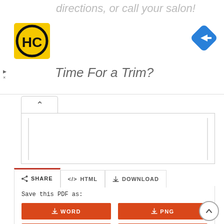directions, or call your salon!
[Figure (logo): HC logo — yellow square with black HC letters in circular border]
[Figure (other): Blue diamond navigation/directions icon with white right-arrow]
Time For a Trim?
[Figure (screenshot): Document viewer panel showing white page with vertical lines on sides, with collapse arrow tab]
SHARE
</> HTML
DOWNLOAD
Save this PDF as:
WORD
PNG
TXT
JPG